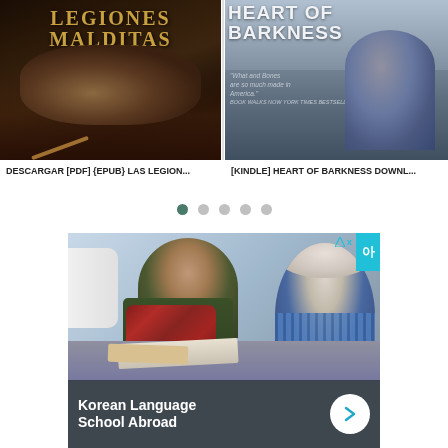[Figure (photo): Book cover: Las Legiones Malditas - dark fantasy/historical cover with gold text on dark background]
DESCARGAR [PDF] {EPUB} LAS LEGION...
[Figure (photo): Book cover: Heart of Barkness - text on grey/blue background with people]
[KINDLE] HEART OF BARKNESS DOWNL...
[Figure (photo): Advertisement image showing two women studying Korean together at a table, with text 'Korean Language School Abroad' and a forward arrow button. DX ad marker in top right corner.]
Korean Language School Abroad